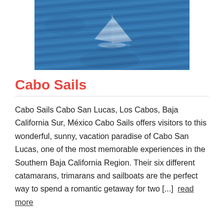[Figure (photo): Aerial view of a white sailboat on deep blue ocean water, seen from above, with white sails open.]
Cabo Sails
Cabo Sails Cabo San Lucas, Los Cabos, Baja California Sur, México Cabo Sails offers visitors to this wonderful, sunny, vacation paradise of Cabo San Lucas, one of the most memorable experiences in the Southern Baja California Region. Their six different catamarans, trimarans and sailboats are the perfect way to spend a romantic getaway for two [...] read more